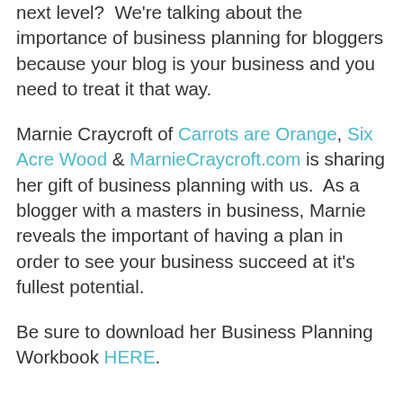next level?  We're talking about the importance of business planning for bloggers because your blog is your business and you need to treat it that way.
Marnie Craycroft of Carrots are Orange, Six Acre Wood & MarnieCraycroft.com is sharing her gift of business planning with us.  As a blogger with a masters in business, Marnie reveals the important of having a plan in order to see your business succeed at it's fullest potential.
Be sure to download her Business Planning Workbook HERE.